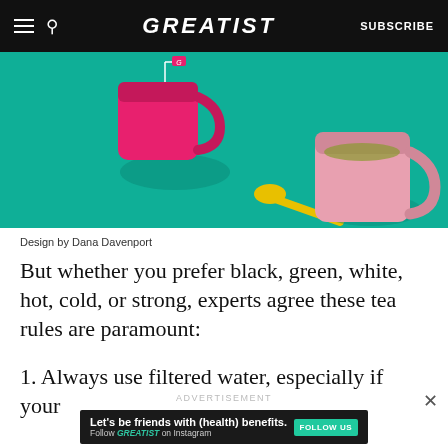GREATIST | SUBSCRIBE
[Figure (photo): Pink and magenta mugs of tea with a yellow spoon on a teal background. Design by Dana Davenport.]
Design by Dana Davenport
But whether you prefer black, green, white, hot, cold, or strong, experts agree these tea rules are paramount:
1. Always use filtered water, especially if your
ADVERTISEMENT
Let's be friends with (health) benefits. Follow GREATIST on Instagram